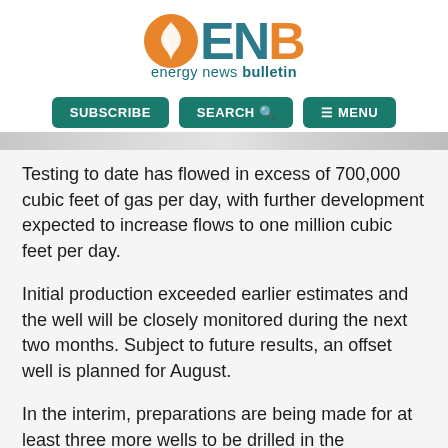[Figure (logo): Energy News Bulletin (ENB) logo with orange flame icon and teal lettering, tagline 'energy news bulletin' below]
SUBSCRIBE  SEARCH  MENU
Testing to date has flowed in excess of 700,000 cubic feet of gas per day, with further development expected to increase flows to one million cubic feet per day.
Initial production exceeded earlier estimates and the well will be closely monitored during the next two months. Subject to future results, an offset well is planned for August.
In the interim, preparations are being made for at least three more wells to be drilled in the immediate term. One well will be drilled on each of two other prospects that are held by the joint venture in Southeastern Alberta. The first of the new wells is scheduled to commence drilling in June